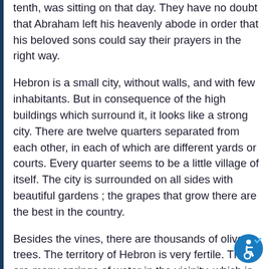tenth, was sitting on that day. They have no doubt that Abraham left his heavenly abode in order that his beloved sons could say their prayers in the right way.
Hebron is a small city, without walls, and with few inhabitants. But in consequence of the high buildings which surround it, it looks like a strong city. There are twelve quarters separated from each other, in each of which are different yards or courts. Every quarter seems to be a little village of itself. The city is surrounded on all sides with beautiful gardens ; the grapes that grow there are the best in the country.
Besides the vines, there are thousands of olive-trees. The territory of Hebron is very fertile. There are many springs of water in the vicinity, which is rather rare in this country. The climate is healthful and superior to that of Jerusalem. The necessaries of life are very cheap, and although